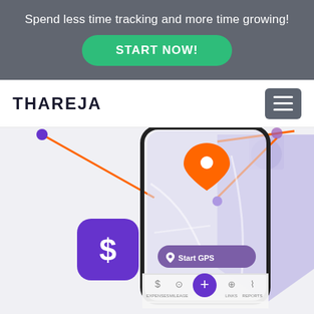Spend less time tracking and more time growing!
START NOW!
THAREJA
[Figure (screenshot): Mobile app screenshot showing a GPS tracking app with a map, location pins in orange, a Start GPS button in purple, a dollar sign app icon in purple, navigation dots connected by orange lines, a large purple checkmark/location pin in the background, and a bottom navigation bar with icons for expenses, mileage, links, and reports.]